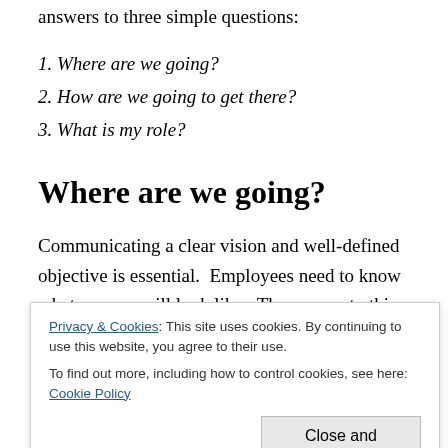answers to three simple questions:
1. Where are we going?
2. How are we going to get there?
3. What is my role?
Where are we going?
Communicating a clear vision and well-defined objective is essential.  Employees need to know what success will look like.  The answer to this question should define the goal and paint a picture of the future.
Privacy & Cookies: This site uses cookies. By continuing to use this website, you agree to their use.
To find out more, including how to control cookies, see here: Cookie Policy
to get there is just asking for mass confusion and